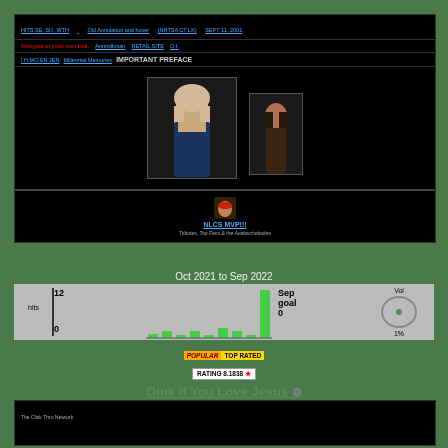Navigate at your own risk — website navigation links — SEPT 11, 2001
Navigate at your own risk  Annmilkman  RETAIL SITE  O.I.
IMPORTANT PREFACE
[Figure (photo): Two photos of women on black background — one blonde woman in dark jacket and one brunette woman]
[Figure (photo): Small avatar photo of person wearing red cap]
NLCS MVP!!!
Tributes, Top Fans & the Avalanchebuites
Oct 2021 to Sep 2022
[Figure (bar-chart): Bar chart showing monthly hits from Oct 2021 to Sep 2022, max 12 in one month. Vol indicator 1%.]
POPULAR  TOP RATED
RATING 8.1838 ★
Oink If You Love Jesus 🔗
Rate it
[Figure (screenshot): Bottom strip showing The Click Thru Network interface]